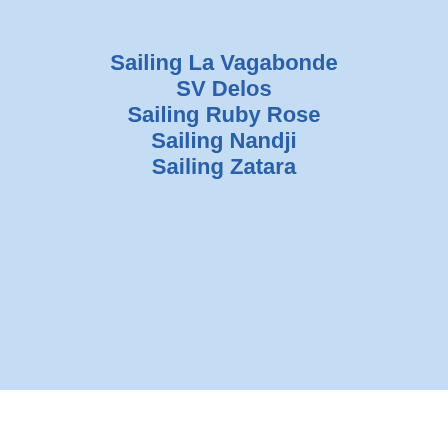Sailing La Vagabonde
SV Delos
Sailing Ruby Rose
Sailing Nandji
Sailing Zatara